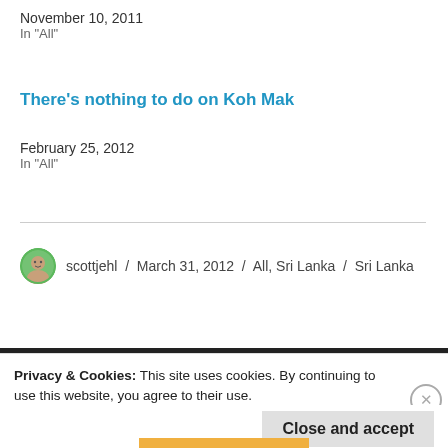There's nothing to do on Koh Mak
February 25, 2012
In "All"
scottjehl / March 31, 2012 / All, Sri Lanka / Sri Lanka
Privacy & Cookies: This site uses cookies. By continuing to use this website, you agree to their use.
To find out more, including how to control cookies, see here: Cookie Policy
Close and accept